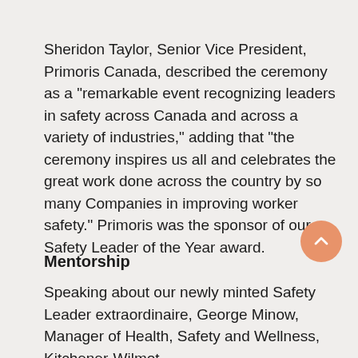Sheridon Taylor, Senior Vice President, Primoris Canada, described the ceremony as a "remarkable event recognizing leaders in safety across Canada and across a variety of industries," adding that "the ceremony inspires us all and celebrates the great work done across the country by so many Companies in improving worker safety." Primoris was the sponsor of our Safety Leader of the Year award.
Mentorship
Speaking about our newly minted Safety Leader extraordinaire, George Minow, Manager of Health, Safety and Wellness, Kitchener-Wilmot